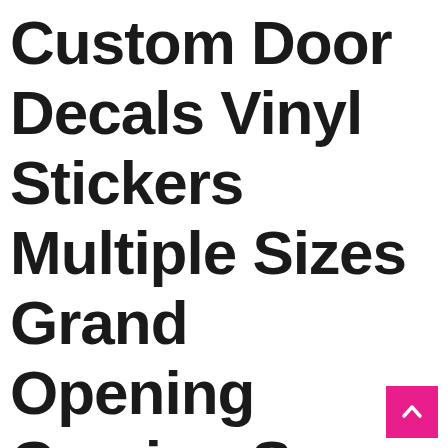Custom Door Decals Vinyl Stickers Multiple Sizes Grand Opening Coming Soon Company Name Business...
[Figure (other): Pink/magenta scroll-to-top button with upward chevron arrow, positioned bottom-right]